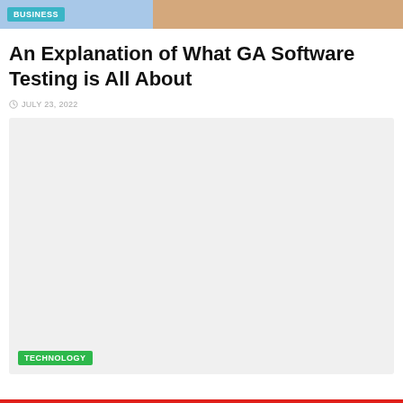BUSINESS
An Explanation of What GA Software Testing is All About
JULY 23, 2022
[Figure (photo): Large image area with light gray background placeholder, containing a TECHNOLOGY tag label at the bottom left]